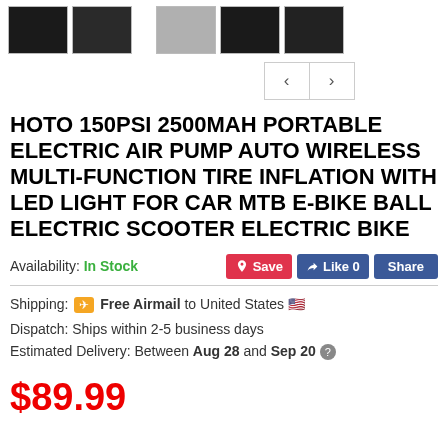[Figure (photo): Product thumbnail images of a portable electric air pump, shown in a row at the top of the page.]
HOTO 150PSI 2500MAH PORTABLE ELECTRIC AIR PUMP AUTO WIRELESS MULTI-FUNCTION TIRE INFLATION WITH LED LIGHT FOR CAR MTB E-BIKE BALL ELECTRIC SCOOTER ELECTRIC BIKE
Availability: In Stock
Shipping: ✈ Free Airmail to United States 🇺🇸
Dispatch: Ships within 2-5 business days
Estimated Delivery: Between Aug 28 and Sep 20 ?
$89.99